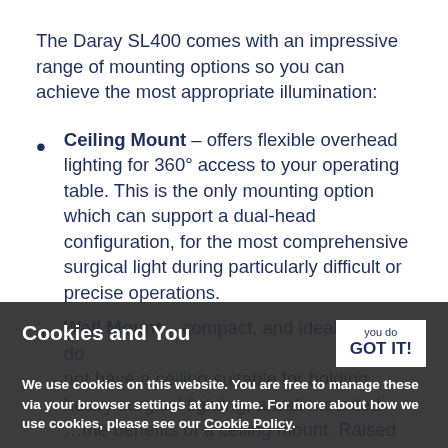The Daray SL400 comes with an impressive range of mounting options so you can achieve the most appropriate illumination:
Ceiling Mount – offers flexible overhead lighting for 360° access to your operating table. This is the only mounting option which can support a dual-head configuration, for the most comprehensive surgical light during particularly difficult or precise operations.
Wall Mount – compact, and ideal if you do not have a ceiling suitable for holding heavy surgical lighting, a wall mounted...
...the benefits of a ceiling mount. Raised and out of the way, it offers the lighting you...
Cookies and You
We use cookies on this website. You are free to manage these via your browser settings at any time. For more about how we use cookies, please see our Cookie Policy.